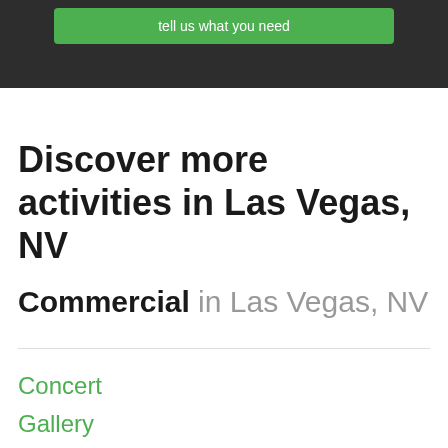[Figure (screenshot): Dark background hero image with a green button labeled 'tell us what you need' at the top of the page]
Discover more activities in Las Vegas, NV
Commercial in Las Vegas, NV
Concert
Gallery